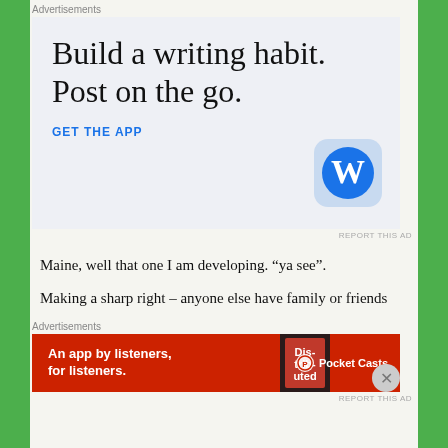Advertisements
[Figure (infographic): WordPress app advertisement with large serif text 'Build a writing habit. Post on the go.' and a blue 'GET THE APP' call-to-action link, with the WordPress 'W' logo icon in a rounded square on the right.]
REPORT THIS AD
Maine, well that one I am developing. “ya see”.
Making a sharp right – anyone else have family or friends
Advertisements
[Figure (infographic): Pocket Casts advertisement with red background: 'An app by listeners, for listeners.' with Distributed book image and Pocket Casts logo.]
REPORT THIS AD